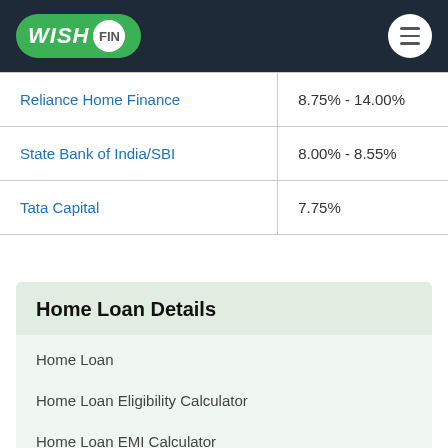WISHFIN
| Bank/Lender | Interest Rate |
| --- | --- |
| Reliance Home Finance | 8.75% - 14.00% |
| State Bank of India/SBI | 8.00% - 8.55% |
| Tata Capital | 7.75% |
Home Loan Details
Home Loan
Home Loan Eligibility Calculator
Home Loan EMI Calculator
Home Loan Interest Rates
Home Loan Top Up in India
Home Loan Balance Transfer